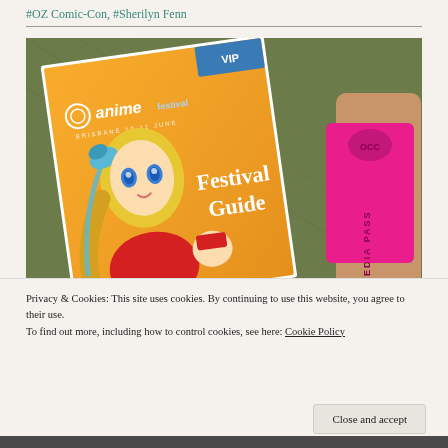#OZ Comic-Con, #Sherilyn Fenn
[Figure (photo): Photo of an Anime Festival Australia Festival Guide booklet with an anime girl character on the cover, held next to a wrist wearing a pink Media Pass wristband, placed on a green background.]
Privacy & Cookies: This site uses cookies. By continuing to use this website, you agree to their use.
To find out more, including how to control cookies, see here: Cookie Policy
Close and accept